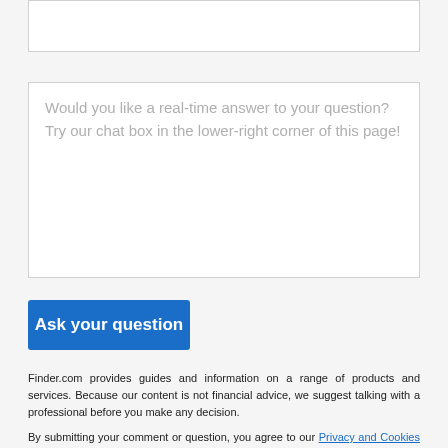(empty top input box)
Would you like a real-time answer to your question? Try our chat box in the lower-right corner of this page!
Ask your question
Finder.com provides guides and information on a range of products and services. Because our content is not financial advice, we suggest talking with a professional before you make any decision.
By submitting your comment or question, you agree to our Privacy and Cookies Policy and finder.com Terms of Use.
Questions and responses on finder.com are not provided, paid for or otherwise endorsed by any bank or brand. These banks and brands are not